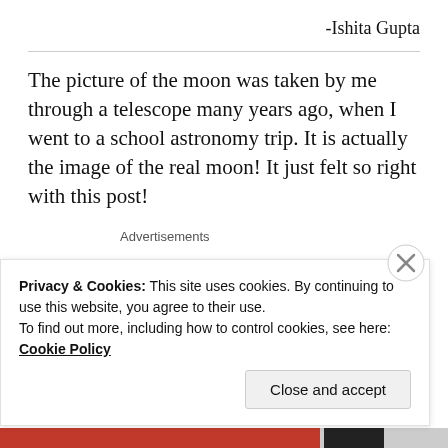-Ishita Gupta
The picture of the moon was taken by me through a telescope many years ago, when I went to a school astronomy trip. It is actually the image of the real moon! It just felt so right with this post!
Advertisements
[Figure (logo): Longreads logo: red circle with white L, followed by LONGREADS text in bold]
Privacy & Cookies: This site uses cookies. By continuing to use this website, you agree to their use.
To find out more, including how to control cookies, see here: Cookie Policy
Close and accept